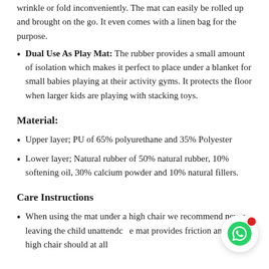wrinkle or fold inconveniently. The mat can easily be rolled up and brought on the go. It even comes with a linen bag for the purpose.
Dual Use As Play Mat: The rubber provides a small amount of isolation which makes it perfect to place under a blanket for small babies playing at their activity gyms. It protects the floor when larger kids are playing with stacking toys.
Material:
Upper layer; PU of 65% polyurethane and 35% Polyester
Lower layer; Natural rubber of 50% natural rubber, 10% softening oil, 30% calcium powder and 10% natural fillers.
Care Instructions
When using the mat under a high chair we recommend never leaving the child unattended. The mat provides friction and the high chair should at all